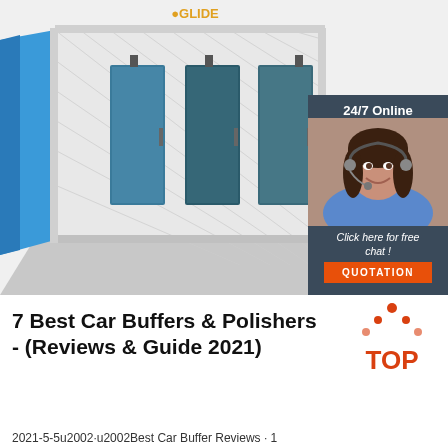[Figure (photo): Photo of a white industrial paint spray booth with blue side panel and three glass window/door panels. Logo 'SLIM SLIDE' visible at top. An advertisement panel overlaid on the right showing a woman with headset, '24/7 Online' text, 'Click here for free chat!' text, and an orange 'QUOTATION' button on dark blue/grey background.]
[Figure (logo): TOP badge/logo in orange-red dotted triangle shape with 'TOP' text]
7 Best Car Buffers & Polishers - (Reviews & Guide 2021)
2021-5-5u2002·u2002Best Car Buffer Reviews · 1